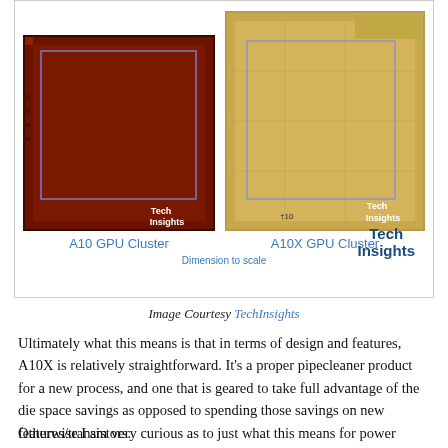[Figure (photo): Side-by-side microscope die shots of A10 GPU Cluster (left, dark red) and A10X GPU Cluster (right, gold/tan), labeled and watermarked with TechInsights. Caption 'Dimension to scale' appears below the images. TechInsights logo in bottom-right corner of the figure box.]
Image Courtesy TechInsights
Ultimately what this means is that in terms of design and features, A10X is relatively straightforward. It's a proper pipecleaner product for a new process, and one that is geared to take full advantage of the die space savings as opposed to spending those savings on new features/transistors.
Otherwise I am very curious as to just what this means for power